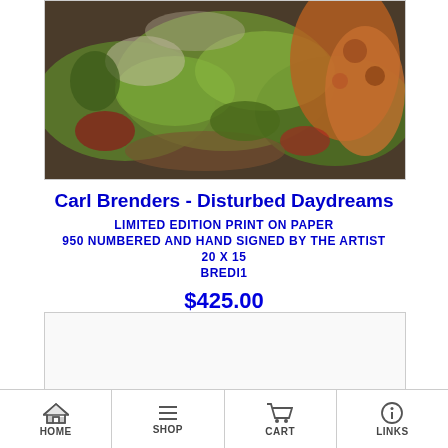[Figure (photo): Photograph of a nature artwork showing moss, ferns, and forest floor vegetation in greens, browns, and reds — artwork by Carl Brenders titled Disturbed Daydreams]
Carl Brenders - Disturbed Daydreams
LIMITED EDITION PRINT ON PAPER
950 NUMBERED AND HAND SIGNED BY THE ARTIST
20 X 15
BREDI1
$425.00
[Figure (other): White/light grey empty box, likely a second product image placeholder]
HOME  SHOP  CART  LINKS